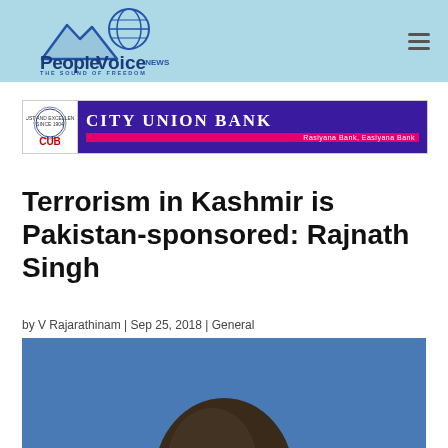PeopleVoice.news - THE SOUND OF FREEDOM
[Figure (logo): PeopleVoice.news logo with mountain and globe graphic, tagline 'THE SOUND OF FREEDOM']
[Figure (infographic): City Union Bank advertisement banner with CUB logo, purple background, pink tagline 'Rasiyana Bank, Easiyana Bank']
Terrorism in Kashmir is Pakistan-sponsored: Rajnath Singh
by V Rajarathinam | Sep 25, 2018 | General
[Figure (photo): Photo of a person's head/face from below, against a blue background, partially cropped]